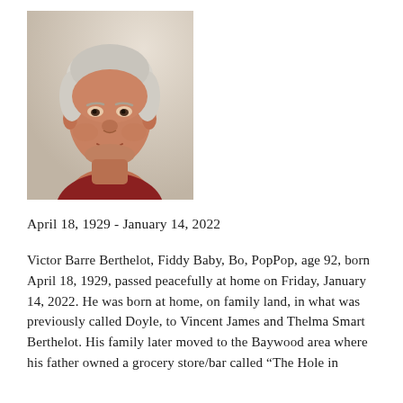[Figure (photo): Head and shoulders photograph of an elderly man with white hair, wearing a red/maroon collared shirt, photographed outdoors in bright light.]
April 18, 1929 - January 14, 2022
Victor Barre Berthelot, Fiddy Baby, Bo, PopPop, age 92, born April 18, 1929, passed peacefully at home on Friday, January 14, 2022. He was born at home, on family land, in what was previously called Doyle, to Vincent James and Thelma Smart Berthelot. His family later moved to the Baywood area where his father owned a grocery store/bar called “The Hole in